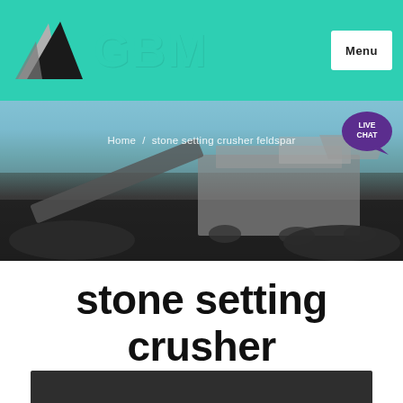[Figure (logo): GBM company logo with mountain/triangle graphic and teal GBM text, with a Menu button on the right]
[Figure (photo): Hero image of a large industrial stone crusher machine outdoors with blue sky background, breadcrumb navigation overlay reading 'Home / stone setting crusher feldspar', and a LIVE CHAT bubble icon in upper right]
stone setting crusher feldspar
[Figure (photo): Dark gray/charcoal colored partial image at bottom of page]